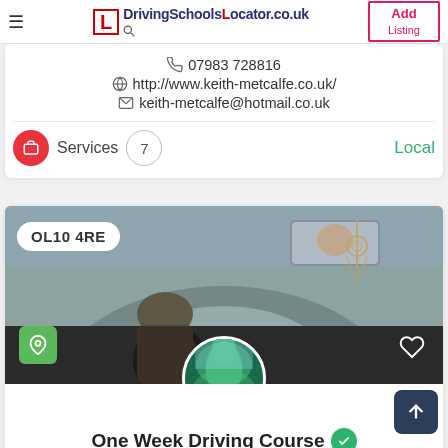DrivingSchoolsLocator.co.uk | Add Listing
07983 728816
http://www.keith-metcalfe.co.uk/
keith-metcalfe@hotmail.co.uk
Services 7 Local
[Figure (photo): Car interior view from driver seat perspective showing a person driving, with rearview mirror visible and dreamcatcher hanging. Postcode badge OL10 4RE shown in top left, green map pin button bottom left, heart icon bottom right, and a circular profile image of trees/forest at bottom center.]
One Week Driving Course